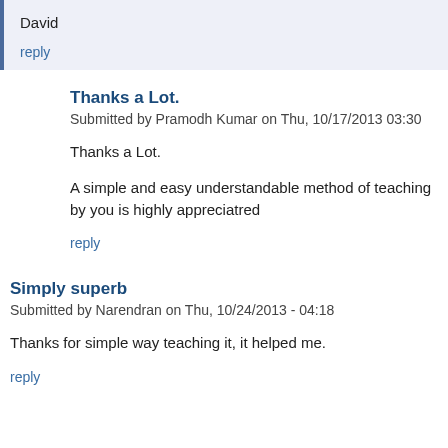David
reply
Thanks a Lot.
Submitted by Pramodh Kumar on Thu, 10/17/2013 03:30
Thanks a Lot.
A simple and easy understandable method of teaching by you is highly appreciatred
reply
Simply superb
Submitted by Narendran on Thu, 10/24/2013 - 04:18
Thanks for simple way teaching it, it helped me.
reply